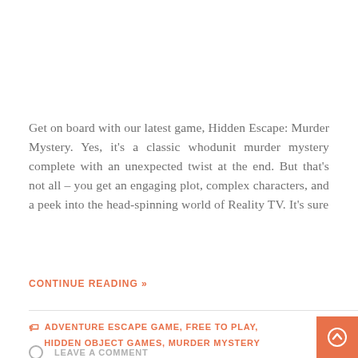Get on board with our latest game, Hidden Escape: Murder Mystery. Yes, it's a classic whodunit murder mystery complete with an unexpected twist at the end. But that's not all – you get an engaging plot, complex characters, and a peek into the head-spinning world of Reality TV. It's sure
CONTINUE READING »
ADVENTURE ESCAPE GAME, FREE TO PLAY, HIDDEN OBJECT GAMES, MURDER MYSTERY
LEAVE A COMMENT